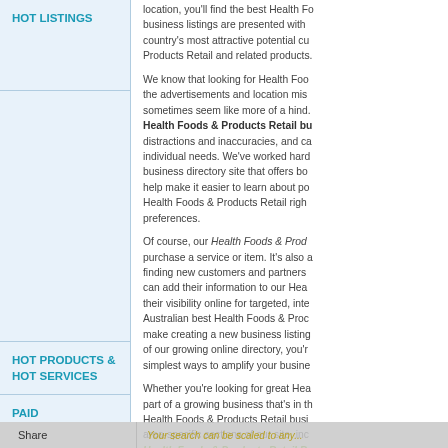HOT LISTINGS
location, you'll find the best Health Foods & Products Retail business listings are presented with country's most attractive potential customers. Products Retail and related products.
We know that looking for Health Foods & Products Retail with the advertisements and location missing sometimes seem like more of a hind. Health Foods & Products Retail business listings are free from distractions and inaccuracies, and can be customised to your individual needs. We've worked hard to create the only business directory site that offers both. That means we help make it easier to learn about potential Health Foods & Products Retail right that fits your preferences.
Of course, our Health Foods & Products Retail is not just to purchase a service or item. It's also a great solution for finding new customers and partners as well. Businesses can add their information to our Health Foods and increase their visibility online for targeted, interested customers. Australian best Health Foods & Products Retail directory make creating a new business listing simple. As a member of our growing online directory, you're promoting one of the simplest ways to amplify your business online.
HOT PRODUCTS & HOT SERVICES
Whether you're looking for great Health Foods & Products, or part of a growing business that's in the market for more Health Foods & Products Retail business, explore our area-specific sections of our site, including Health Foods & Products Retail Business.
PAID ADVERTISING
Your search can be scaled to any...